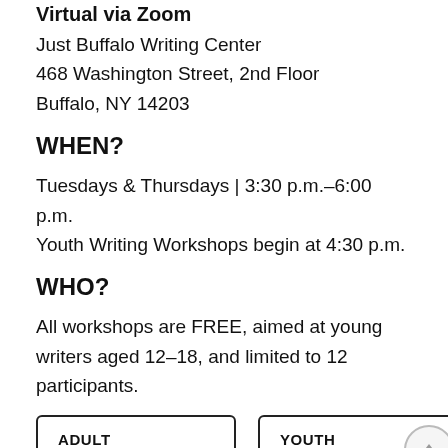Virtual via Zoom
Just Buffalo Writing Center
468 Washington Street, 2nd Floor
Buffalo, NY 14203
WHEN?
Tuesdays & Thursdays | 3:30 p.m.–6:00 p.m.
Youth Writing Workshops begin at 4:30 p.m.
WHO?
All workshops are FREE, aimed at young writers aged 12–18, and limited to 12 participants.
ADULT WORKSHOPS | YOUTH WORKSHOPS | TEACHER WORKSHOPS